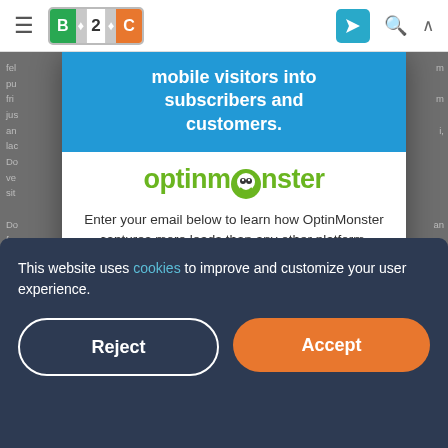B2C — navigation bar with hamburger menu, B2C logo, send icon, search icon, up icon
[Figure (screenshot): OptinMonster popup modal with blue header 'mobile visitors into subscribers and customers.', OptinMonster logo, and text 'Enter your email below to learn how OptinMonster captures more leads than any other platform.']
This website uses cookies to improve and customize your user experience.
Reject  Accept
Etiam venenatis fermentum pulvinar. Suspendisse ultrices accumsan ante non porta. Sed quidiam